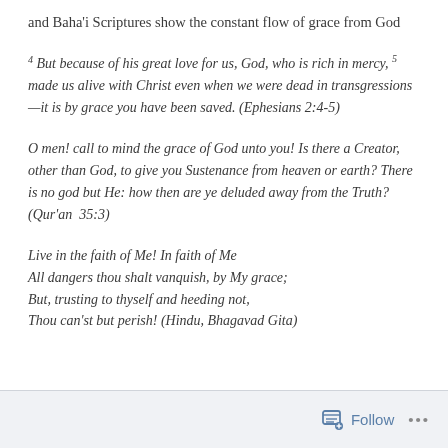and Baha'i Scriptures show the constant flow of grace from God
4 But because of his great love for us, God, who is rich in mercy, 5 made us alive with Christ even when we were dead in transgressions—it is by grace you have been saved. (Ephesians 2:4-5)
O men! call to mind the grace of God unto you! Is there a Creator, other than God, to give you Sustenance from heaven or earth? There is no god but He: how then are ye deluded away from the Truth? (Qur'an 35:3)
Live in the faith of Me! In faith of Me
All dangers thou shalt vanquish, by My grace;
But, trusting to thyself and heeding not,
Thou can'st but perish! (Hindu, Bhagavad Gita)
Follow ...